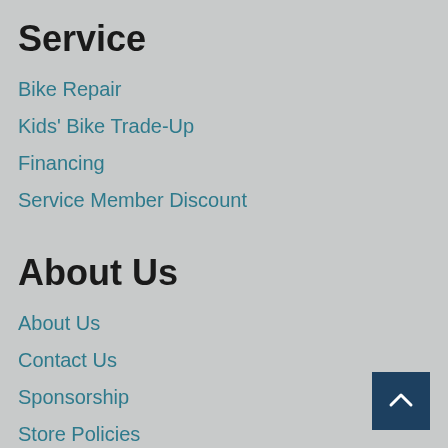Service
Bike Repair
Kids' Bike Trade-Up
Financing
Service Member Discount
About Us
About Us
Contact Us
Sponsorship
Store Policies
Visit Cabarrus Cycling Co.